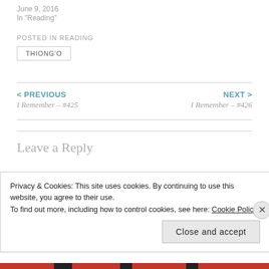June 9, 2016
In "Reading"
POSTED IN READING
THIONG'O
< PREVIOUS
I Remember – #425
NEXT >
I Remember – #426
Leave a Reply
Privacy & Cookies: This site uses cookies. By continuing to use this website, you agree to their use.
To find out more, including how to control cookies, see here: Cookie Policy
Close and accept